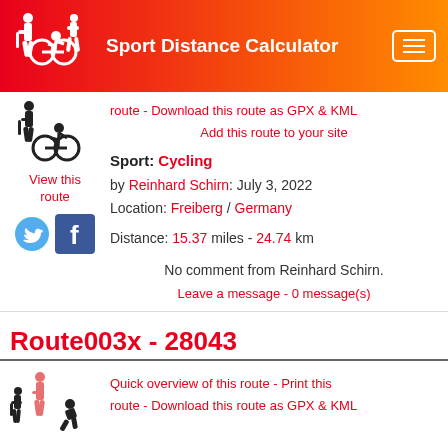Sport Distance Calculator
route - Download this route as GPX & KML
Add this route to your site
View this route
Sport: Cycling
by Reinhard Schirn: July 3, 2022
Location: Freiberg / Germany
Distance: 15.37 miles - 24.74 km
No comment from Reinhard Schirn.
Leave a message - 0 message(s)
Route003x - 28043
Quick overview of this route - Print this route - Download this route as GPX & KML